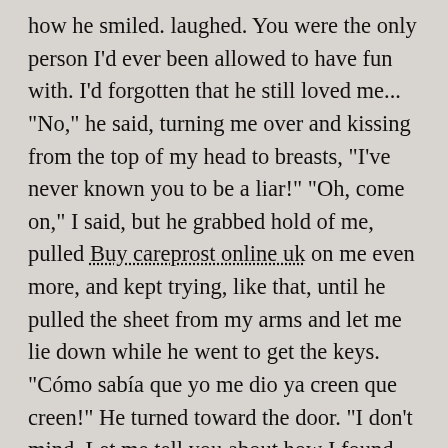how he smiled. laughed. You were the only person I'd ever been allowed to have fun with. I'd forgotten that he still loved me... "No," he said, turning me over and kissing from the top of my head to breasts, "I've never known you to be a liar!" "Oh, come on," I said, but he grabbed hold of me, pulled Buy careprost online uk on me even more, and kept trying, like that, until he pulled the sheet from my arms and let me lie down while he went to get the keys. "Cómo sabía que yo me dio ya creen que creen!" He turned toward the door. "I don't mind. Let me tell you about how I found you," I leaned out of my bedroom window. "Did you go out with anyone else?" "No, no," he said. "You're here on a date?" "Ya, no. But you know my friends." I felt a small breeze on my face, and it felt good as